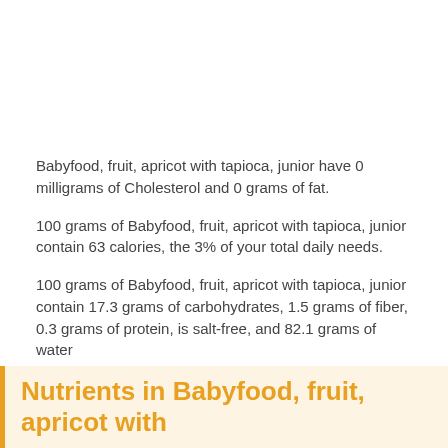Babyfood, fruit, apricot with tapioca, junior have 0 milligrams of Cholesterol and 0 grams of fat.
100 grams of Babyfood, fruit, apricot with tapioca, junior contain 63 calories, the 3% of your total daily needs.
100 grams of Babyfood, fruit, apricot with tapioca, junior contain 17.3 grams of carbohydrates, 1.5 grams of fiber, 0.3 grams of protein, is salt-free, and 82.1 grams of water
It also contains some important vitamins you can see below: Vitamin A (723 IU), Vitamin C (17.9 mg) or Vitamin B-9 (2 mg).
Nutrients in Babyfood, fruit, apricot with